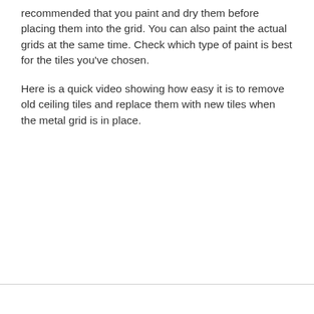recommended that you paint and dry them before placing them into the grid. You can also paint the actual grids at the same time. Check which type of paint is best for the tiles you've chosen.
Here is a quick video showing how easy it is to remove old ceiling tiles and replace them with new tiles when the metal grid is in place.